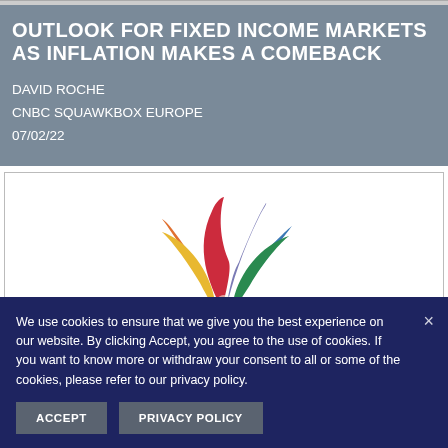OUTLOOK FOR FIXED INCOME MARKETS AS INFLATION MAKES A COMEBACK
DAVID ROCHE
CNBC SQUAWKBOX EUROPE
07/02/22
[Figure (logo): NBC/CNBC peacock logo with colorful feathers in red, orange, yellow, green, blue, and purple on white background]
We use cookies to ensure that we give you the best experience on our website. By clicking Accept, you agree to the use of cookies. If you want to know more or withdraw your consent to all or some of the cookies, please refer to our privacy policy.